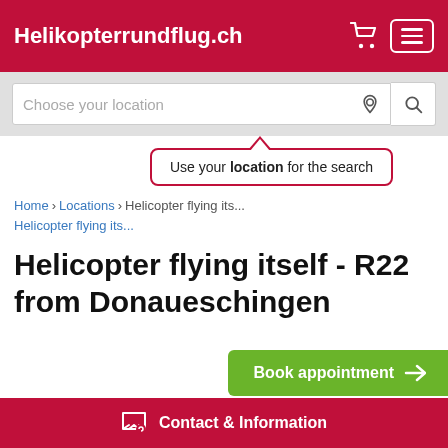Helikopterrundflug.ch
[Figure (screenshot): Search bar with placeholder text 'Choose your location', location pin icon, and search magnifier button]
[Figure (infographic): Tooltip popup saying 'Use your location for the search' with upward pointing triangle, bordered in dark red]
Home > Locations > Helicopter flying its... > ...
Helicopter flying itself - R22 from Donaueschingen
[Figure (screenshot): Green 'Book appointment' button with arrow in bottom right corner]
Contact & Information